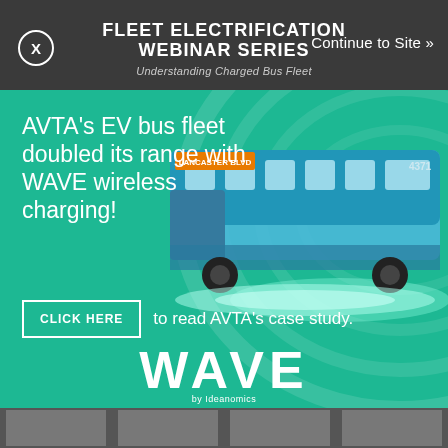FLEET ELECTRIFICATION WEBINAR SERIES
Understanding Charged Bus Fleet
Continue to Site »
[Figure (illustration): Advertisement for WAVE wireless charging featuring an EV bus on a teal background with wave design elements]
AVTA's EV bus fleet doubled its range with WAVE wireless charging!
CLICK HERE to read AVTA's case study.
WAVE by Ideanomics